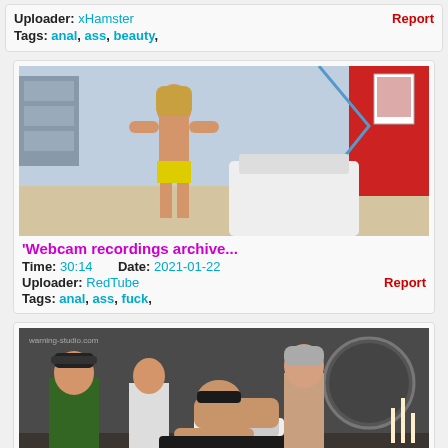Uploader: xHamster   Report
Tags: anal, ass, beauty,
[Figure (photo): Thumbnail photo for webcam recordings archive video]
'Webcam recordings archive...
Time: 30:14   Date: 2021-01-22
Uploader: RedTube   Report
Tags: anal, ass, fuck,
[Figure (photo): Thumbnail photo for Cum Cum Cum Gangbang Orgy video]
Cum Cum Cum Gangbang Orgy -
Time: 12:20   Date: 2021-12-06
Uploader: xHamster   Report